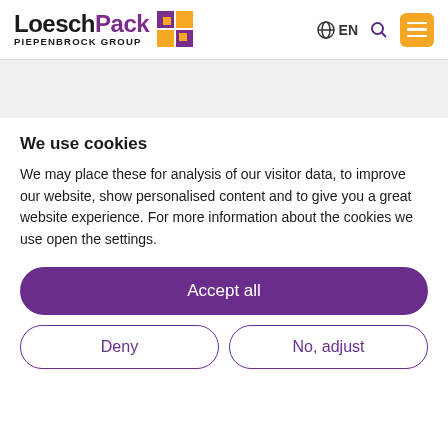LoeschPack PIEPENBROCK GROUP — EN navigation header
We use cookies
We may place these for analysis of our visitor data, to improve our website, show personalised content and to give you a great website experience. For more information about the cookies we use open the settings.
Accept all
Deny
No, adjust